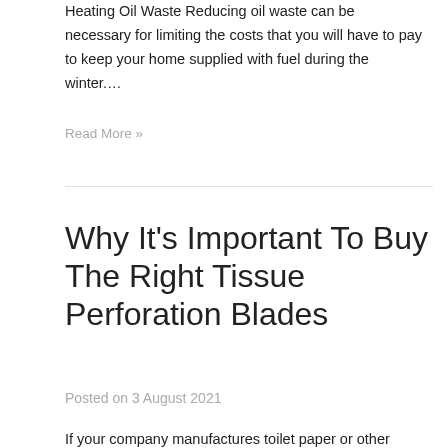Heating Oil Waste Reducing oil waste can be necessary for limiting the costs that you will have to pay to keep your home supplied with fuel during the winter.…
Read More »
Why It's Important To Buy The Right Tissue Perforation Blades
Posted on 3 August 2021
If your company manufactures toilet paper or other